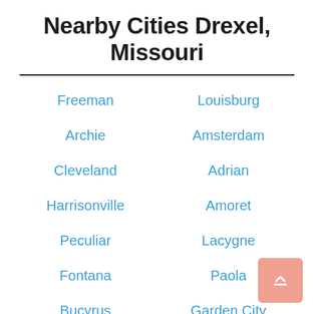Nearby Cities Drexel, Missouri
Freeman
Louisburg
Archie
Amsterdam
Cleveland
Adrian
Harrisonville
Amoret
Peculiar
Lacygne
Fontana
Paola
Bucyrus
Garden City